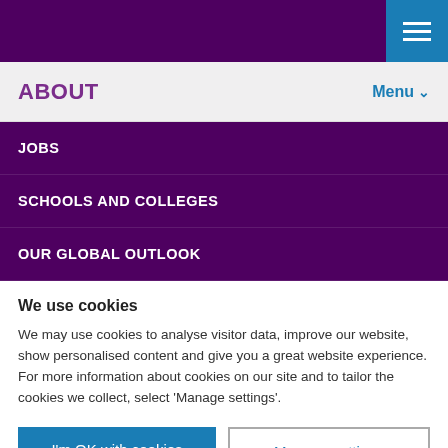ABOUT
JOBS
SCHOOLS AND COLLEGES
OUR GLOBAL OUTLOOK
We use cookies
We may use cookies to analyse visitor data, improve our website, show personalised content and give you a great website experience. For more information about cookies on our site and to tailor the cookies we collect, select 'Manage settings'.
I'm OK with cookies
Manage settings